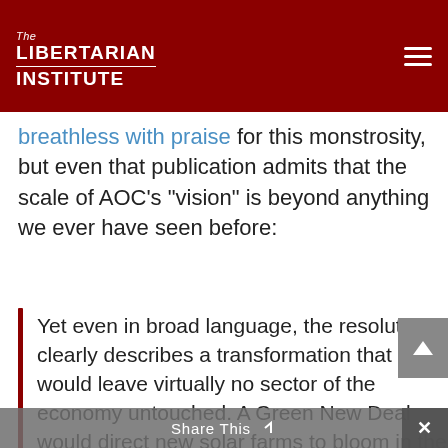The Libertarian Institute
breathless with praise for this monstrosity, but even that publication admits that the scale of AOC's “vision” is beyond anything we ever have seen before:
Yet even in broad language, the resolution clearly describes a transformation that would leave virtually no sector of the economy untouched. A Green New Deal would direct new solar farms to bloom in the desert, new high-speed rail lines to crisscross the Plains, and squadrons of construction workers to insulate and